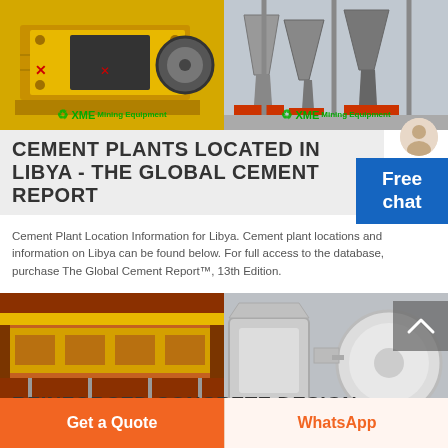[Figure (photo): Two industrial mining machines: left image shows a yellow crusher/impact machine, right image shows gray industrial equipment in a factory setting. Both images have XME Mining Equipment watermarks.]
CEMENT PLANTS LOCATED IN LIBYA - THE GLOBAL CEMENT REPORT
Cement Plant Location Information for Libya. Cement plant locations and information on Libya can be found below. For full access to the database, purchase The Global Cement Report™, 13th Edition.
[Figure (photo): Two industrial mining machines: left image shows red/yellow vibrating feeder equipment, right image shows gray industrial mill/grinder equipment. Both images have XME Mining Equipment watermarks.]
REINFORCED CONCRETE DESIGN
Get a Quote
WhatsApp